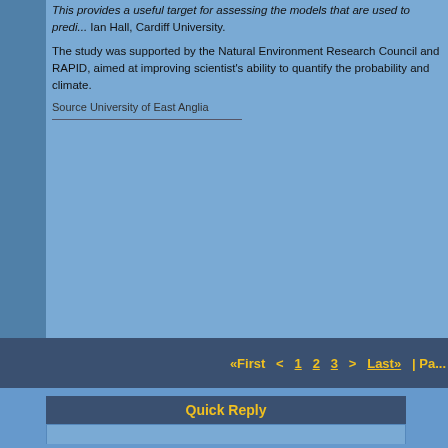This provides a useful target for assessing the models that are used to predict... Ian Hall, Cardiff University.
The study was supported by the Natural Environment Research Council and RAPID, aimed at improving scientist's ability to quantify the probability and climate.
Source University of East Anglia
«First < 1 2 3 > Last» | Pa...
Quick Reply
Please log in to post quick replies.
Home -> Astronomy News -> General news -> Hudson Flood
Create your own FREE Forum
Report Abuse